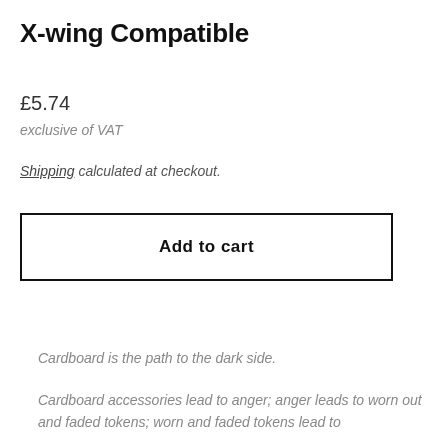X-wing Compatible
£5.74
exclusive of VAT
Shipping calculated at checkout.
Add to cart
Cardboard is the path to the dark side.
Cardboard accessories lead to anger; anger leads to worn out and faded tokens; worn and faded tokens lead to By The Score Tokens...